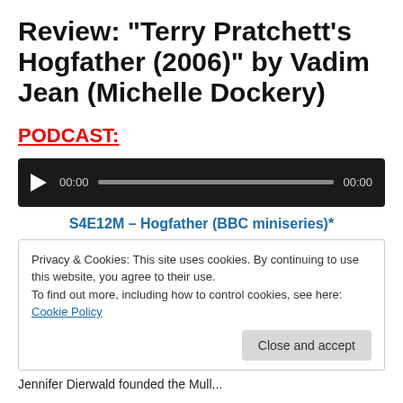Review: “Terry Pratchett’s Hogfather (2006)” by Vadim Jean (Michelle Dockery)
PODCAST:
[Figure (other): Audio player widget with play button, time display 00:00, progress bar, and end time 00:00 on dark background]
S4E12M – Hogfather (BBC miniseries)*
Privacy & Cookies: This site uses cookies. By continuing to use this website, you agree to their use.
To find out more, including how to control cookies, see here: Cookie Policy
Close and accept
Jennifer Dierwald founded the Mull...